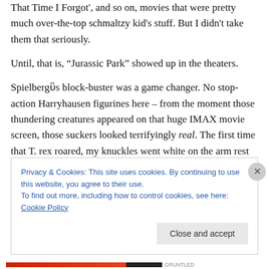That Time I Forgot', and so on, movies that were pretty much over-the-top schmaltzy kid's stuff. But I didn't take them that seriously.
Until, that is, “Jurassic Park” showed up in the theaters.
Spielberg’s block-buster was a game changer. No stop-action Harryhausen figurines here – from the moment those thundering creatures appeared on that huge IMAX movie screen, those suckers looked terrifyingly real. The first time that T. rex roared, my knuckles went white on the arm rest and that scene where Jeff Goldblum is being
Privacy & Cookies: This site uses cookies. By continuing to use this website, you agree to their use.
To find out more, including how to control cookies, see here: Cookie Policy